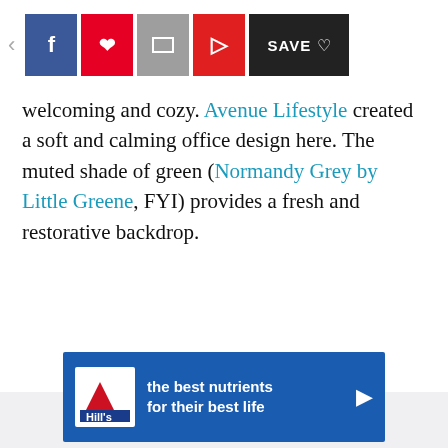[Figure (screenshot): Social sharing toolbar with back arrow, Facebook (blue), Pinterest (red), Email (gray), Flipboard (red) buttons, and a SAVE with heart button (dark)]
welcoming and cozy. Avenue Lifestyle created a soft and calming office design here. The muted shade of green (Normandy Grey by Little Greene, FYI) provides a fresh and restorative backdrop.
Advertisement
[Figure (screenshot): Hill's pet nutrition advertisement banner with logo on left and text: the best nutrients for their best life, with a play/arrow button on right]